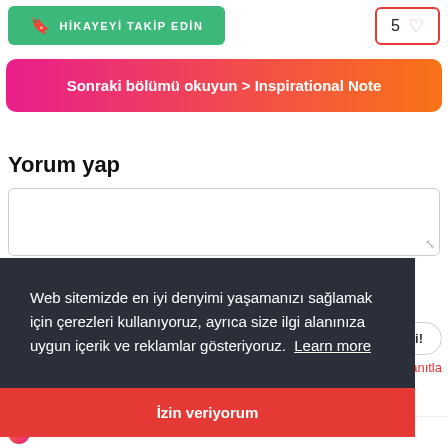[Figure (screenshot): Green follow story button with bookmark icon and text HİKAYEYİ TAKİP EDİN, and a like button showing 5 with a heart icon]
Sonraki bölümü okuyun > Inspirational Note
Yorum yap
[Figure (screenshot): Comment text area input box]
Web sitemizde en iyi denyimi yaşamanızı sağlamak için çerezleri kullanıyoruz, ayrıca size ilgi alanınıza uygun içerik ve reklamlar gösteriyoruz.  Learn more
İzin veriyorum
yanıtla